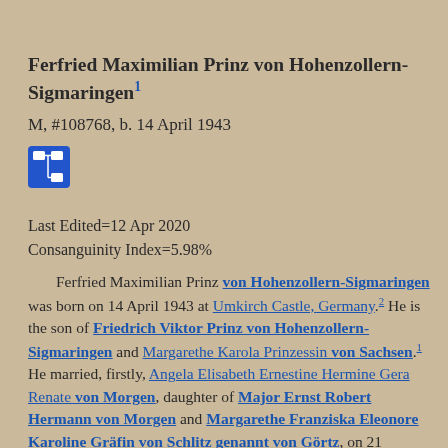Ferfried Maximilian Prinz von Hohenzollern-Sigmaringen¹
M, #108768, b. 14 April 1943
[Figure (other): Blue icon box with a pedigree/family tree chart icon (white lines on blue background)]
Last Edited=12 Apr 2020
Consanguinity Index=5.98%
Ferfried Maximilian Prinz von Hohenzollern-Sigmaringen was born on 14 April 1943 at Umkirch Castle, Germany.² He is the son of Friedrich Viktor Prinz von Hohenzollern-Sigmaringen and Margarethe Karola Prinzessin von Sachsen.¹ He married, firstly, Angela Elisabeth Ernestine Hermine Gera Renate von Morgen, daughter of Major Ernst Robert Hermann von Morgen and Margarethe Franziska Eleonore Karoline Gräfin von Schlitz genannt von Görtz, on 21 September 1968 at Schloss Sigmaringen, Sigmaringen, Baden-Württemburg, Germany.² He and Angela Elisabeth Ernestine Hermine Gera Renate von Morgen were divorced in 1973. He married, secondly, Eliane...